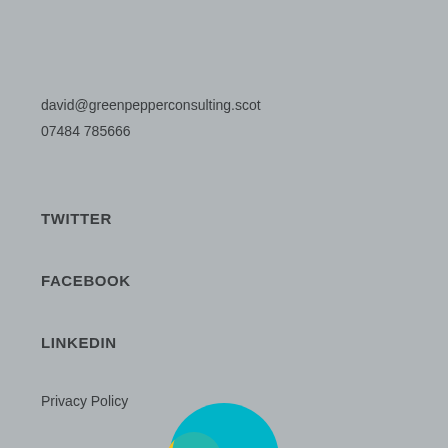david@greenpepperconsulting.scot
07484 785666
TWITTER
FACEBOOK
LINKEDIN
Privacy Policy
[Figure (logo): Green Pepper Consulting logo partially visible at bottom center]